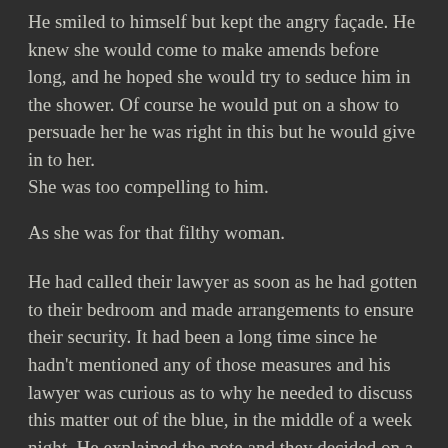He smiled to himself but kept the angry façade. He knew she would come to make amends before long, and he hoped she would try to seduce him in the shower. Of course he would put on a show to persuade her he was right in this but he would give in to her.
She was too compelling to him.
As she was for that filthy woman.
He had called their lawyer as soon as he had gotten to their bedroom and made arrangements to ensure their security. It had been a long time since he hadn't mentioned any of those measures and his lawyer was curious as to why he needed to discuss this matter out of the blue, in the middle of a week night. He explained the note and they decided on a course of action. After that he used the bathroom and hopped into the shower.
'Can I join you?' She asked in a soft voice.